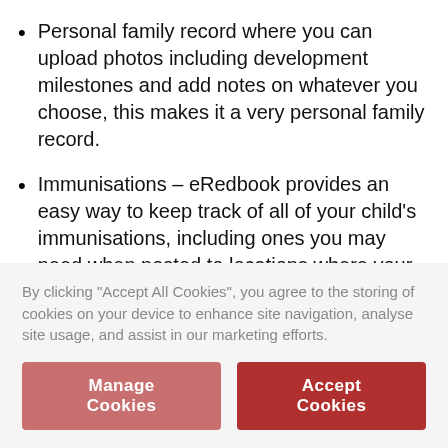Personal family record where you can upload photos including development milestones and add notes on whatever you choose, this makes it a very personal family record.
Immunisations – eRedbook provides an easy way to keep track of all of your child's immunisations, including ones you may need when posted to locations where your child needs additional immunisations.
Shared record so that when your partner or
By clicking "Accept All Cookies", you agree to the storing of cookies on your device to enhance site navigation, analyse site usage, and assist in our marketing efforts.